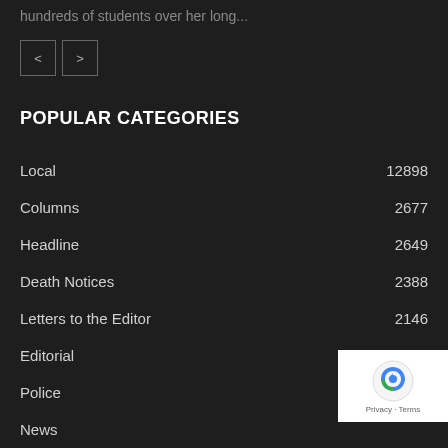hundreds of students over her long...
[Figure (other): Navigation buttons: left arrow and right arrow]
POPULAR CATEGORIES
Local 12898
Columns 2677
Headline 2649
Death Notices 2388
Letters to the Editor 2146
Editorial 567
Police 562
News
Multimedia
Politics 84